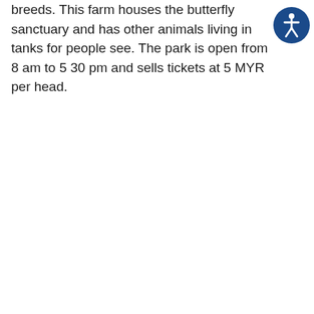breeds. This farm houses the butterfly sanctuary and has other animals living in tanks for people see. The park is open from 8 am to 5 30 pm and sells tickets at 5 MYR per head.
[Figure (illustration): Accessibility icon button — circular dark blue button with white wheelchair/person accessibility symbol]